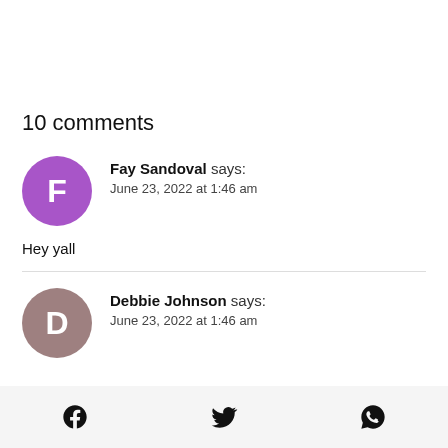10 comments
Fay Sandoval says: June 23, 2022 at 1:46 am
Hey yall
Debbie Johnson says: June 23, 2022 at 1:46 am
Facebook | Twitter | WhatsApp